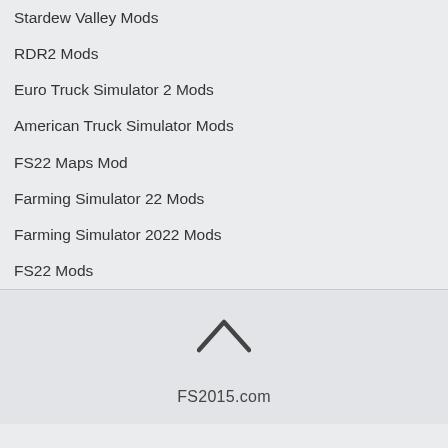Stardew Valley Mods
RDR2 Mods
Euro Truck Simulator 2 Mods
American Truck Simulator Mods
FS22 Maps Mod
Farming Simulator 22 Mods
Farming Simulator 2022 Mods
FS22 Mods
FS2015.com